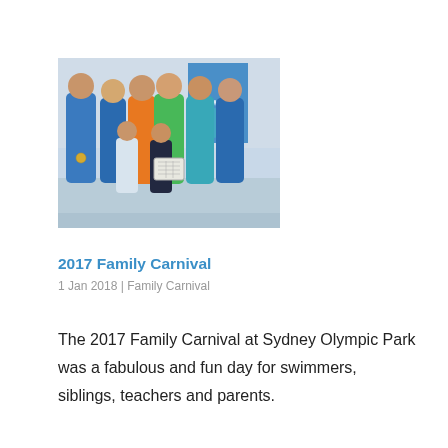[Figure (photo): Group photo of swimmers including children and adults in blue, orange, and green attire at an indoor swimming venue with banners in the background. One person holds a display board.]
2017 Family Carnival
1 Jan 2018 | Family Carnival
The 2017 Family Carnival at Sydney Olympic Park was a fabulous and fun day for swimmers, siblings, teachers and parents.